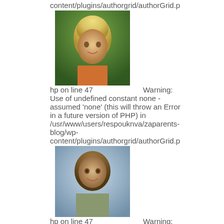content/plugins/authorgrid/authorGrid.p
[Figure (photo): Portrait photo of a blonde woman smiling]
hp on line 47 Warning: Use of undefined constant none - assumed 'none' (this will throw an Error in a future version of PHP) in /usr/www/users/respouknva/zaparents-blog/wp-content/plugins/authorgrid/authorGrid.p
[Figure (photo): Portrait photo of a brown-haired woman smiling]
hp on line 47 Warning: Use of undefined constant none - assumed 'none' (this will throw an Error in a future version of PHP) in /usr/www/users/respouknva/zaparents-blog/wp-content/plugins/authorgrid/authorGrid.p
[Figure (photo): Black and white portrait photo of a person]
hp on line 47